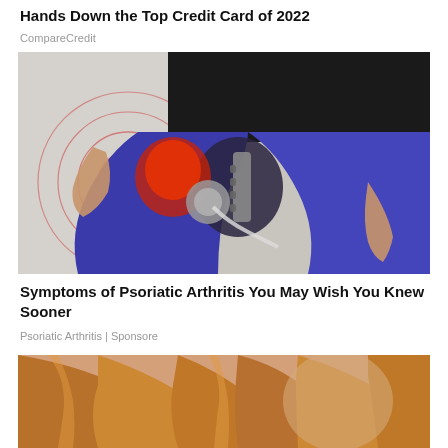Hands Down the Top Credit Card of 2022
CompareCredit
[Figure (photo): Medical illustration overlaid on a person wearing blue leggings, showing hip joint anatomy with red inflammation highlight and concentric pain rings]
Symptoms of Psoriatic Arthritis You May Wish You Knew Sooner
Psoriatic Arthritis | Sponsore
[Figure (photo): Partial view of a person with blonde/reddish hair, cropped at the bottom of the page]